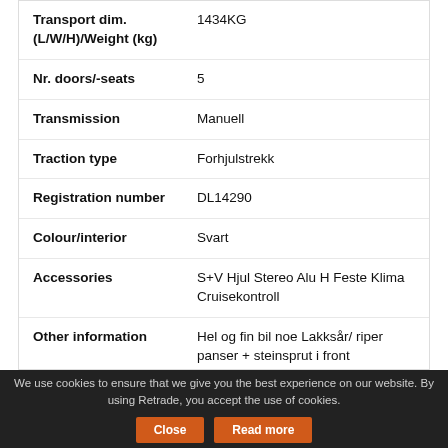| Attribute | Value |
| --- | --- |
| Transport dim. (L/W/H)/Weight (kg) | 1434KG |
| Nr. doors/-seats | 5 |
| Transmission | Manuell |
| Traction type | Forhjulstrekk |
| Registration number | DL14290 |
| Colour/interior | Svart |
| Accessories | S+V Hjul Stereo Alu H Feste Klima Cruisekontroll |
| Other information | Hel og fin bil noe Lakksår/ riper panser + steinsprut i front |
We use cookies to ensure that we give you the best experience on our website. By using Retrade, you accept the use of cookies.